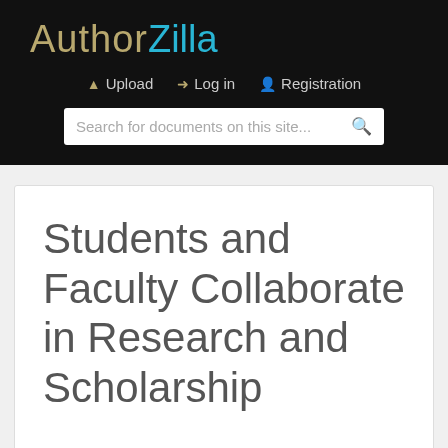AuthorZilla
Upload  Log in  Registration
Search for documents on this site...
Students and Faculty Collaborate in Research and Scholarship